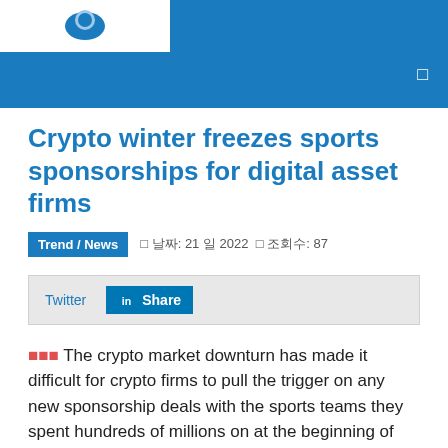Crypto winter freezes sports sponsorships for digital asset firms
Crypto winter freezes sports sponsorships for digital asset firms
Trend / News  날짜: 21 일 2022  조회수: 87
Twitter  Share
🟥🟥🟥 The crypto market downturn has made it difficult for crypto firms to pull the trigger on any new sponsorship deals with the sports teams they spent hundreds of millions on at the beginning of the year.